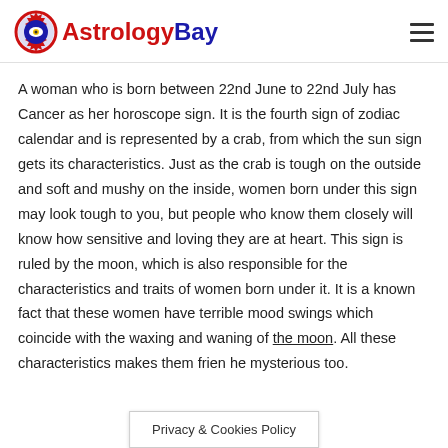AstrologyBay
A woman who is born between 22nd June to 22nd July has Cancer as her horoscope sign. It is the fourth sign of zodiac calendar and is represented by a crab, from which the sun sign gets its characteristics. Just as the crab is tough on the outside and soft and mushy on the inside, women born under this sign may look tough to you, but people who know them closely will know how sensitive and loving they are at heart. This sign is ruled by the moon, which is also responsible for the characteristics and traits of women born under it. It is a known fact that these women have terrible mood swings which coincide with the waxing and waning of the moon. All these characteristics makes them frien...he mysterious too.
Privacy & Cookies Policy